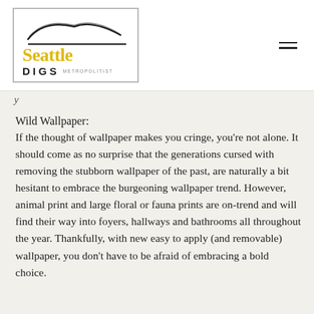[Figure (logo): Seattle Digs Metropolitist logo with stylized house outline above the text, in a bordered box]
y
Wild Wallpaper:
If the thought of wallpaper makes you cringe, you're not alone. It should come as no surprise that the generations cursed with removing the stubborn wallpaper of the past, are naturally a bit hesitant to embrace the burgeoning wallpaper trend. However, animal print and large floral or fauna prints are on-trend and will find their way into foyers, hallways and bathrooms all throughout the year. Thankfully, with new easy to apply (and removable) wallpaper, you don't have to be afraid of embracing a bold choice.